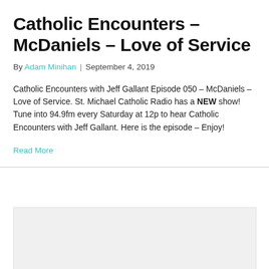Catholic Encounters – McDaniels – Love of Service
By Adam Minihan | September 4, 2019
Catholic Encounters with Jeff Gallant Episode 050 – McDaniels – Love of Service. St. Michael Catholic Radio has a NEW show! Tune into 94.9fm every Saturday at 12p to hear Catholic Encounters with Jeff Gallant. Here is the episode – Enjoy!
Read More
[Figure (other): Gray placeholder box for an image or media element below the divider]